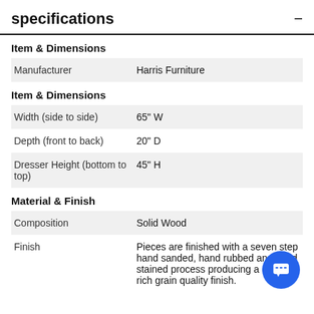specifications
Item & Dimensions
|  |  |
| --- | --- |
| Manufacturer | Harris Furniture |
Item & Dimensions
|  |  |
| --- | --- |
| Width (side to side) | 65" W |
| Depth (front to back) | 20" D |
| Dresser Height (bottom to top) | 45" H |
Material & Finish
|  |  |
| --- | --- |
| Composition | Solid Wood |
| Finish | Pieces are finished with a seven step hand sanded, hand rubbed and hand stained process producing a deep rich grain quality finish. |